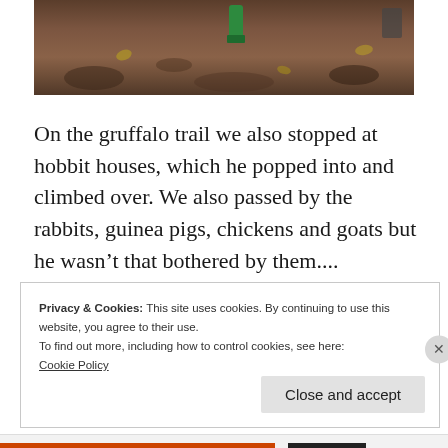[Figure (photo): Top portion of a photo showing a dirt/soil ground scene with what appears to be a green boot or toy visible at top center, and some fallen leaves on brown earth.]
On the gruffalo trail we also stopped at hobbit houses, which he popped into and climbed over. We also passed by the rabbits, guinea pigs, chickens and goats but he wasn't that bothered by them....
Privacy & Cookies: This site uses cookies. By continuing to use this website, you agree to their use.
To find out more, including how to control cookies, see here:
Cookie Policy
Close and accept